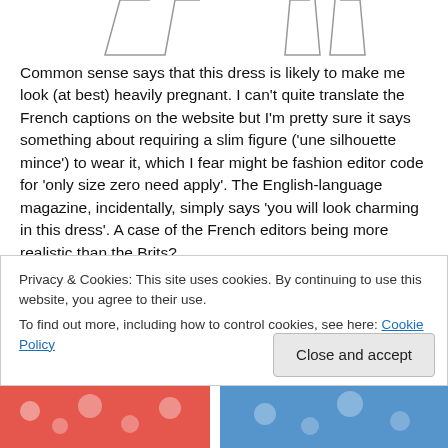[Figure (illustration): Partial tops of two clothing/dress illustrations in outline style at the top of the page]
Common sense says that this dress is likely to make me look (at best) heavily pregnant. I can't quite translate the French captions on the website but I'm pretty sure it says something about requiring a slim figure ('une silhouette mince') to wear it, which I fear might be fashion editor code for 'only size zero need apply'. The English-language magazine, incidentally, simply says 'you will look charming in this dress'. A case of the French editors being more realistic than the Brits?
Anyway I can't help wanting to give this one a go, in a
Privacy & Cookies: This site uses cookies. By continuing to use this website, you agree to their use.
To find out more, including how to control cookies, see here: Cookie Policy
[Figure (photo): Partial colorful clothing images at the bottom of the page]